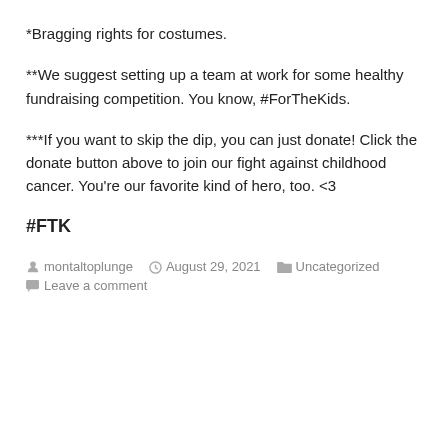*Bragging rights for costumes.
**We suggest setting up a team at work for some healthy fundraising competition. You know, #ForTheKids.
***If you want to skip the dip, you can just donate! Click the donate button above to join our fight against childhood cancer. You're our favorite kind of hero, too. <3
#FTK
montaltoplunge   August 29, 2021   Uncategorized   Leave a comment